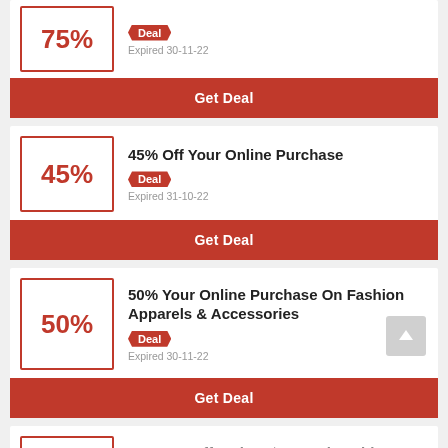75%
Deal
Expired 30-11-22
Get Deal
45% Off Your Online Purchase
45%
Deal
Expired 31-10-22
Get Deal
50% Your Online Purchase On Fashion Apparels & Accessories
50%
Deal
Expired 30-11-22
Get Deal
Get 15% Off Orders $180+ Site-wide
15%
Deal